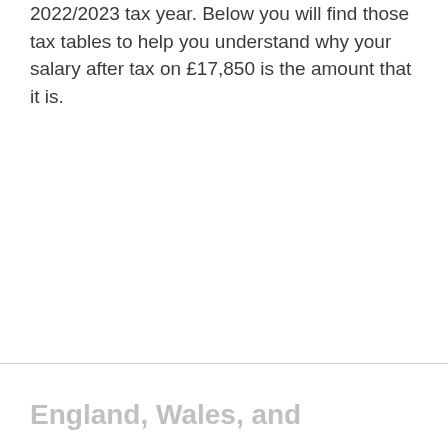2022/2023 tax year. Below you will find those tax tables to help you understand why your salary after tax on £17,850 is the amount that it is.
England, Wales, and